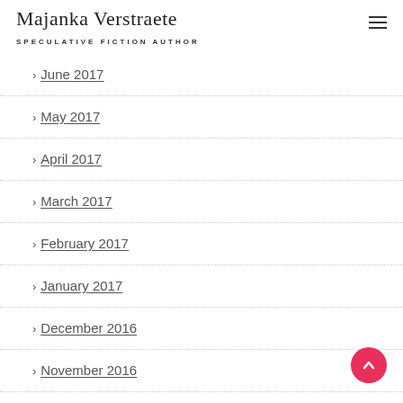Majanka Verstraete — SPECULATIVE FICTION AUTHOR
June 2017
May 2017
April 2017
March 2017
February 2017
January 2017
December 2016
November 2016